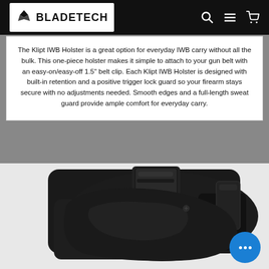BLADETECH
The Klipt IWB Holster is a great option for everyday IWB carry without all the bulk. This one-piece holster makes it simple to attach to your gun belt with an easy-on/easy-off 1.5" belt clip. Each Klipt IWB Holster is designed with built-in retention and a positive trigger lock guard so your firearm stays secure with no adjustments needed. Smooth edges and a full-length sweat guard provide ample comfort for everyday carry.
[Figure (photo): Close-up photo of a black Blade-Tech Klipt IWB holster showing the belt clip, retention mechanism, and textured polymer body]